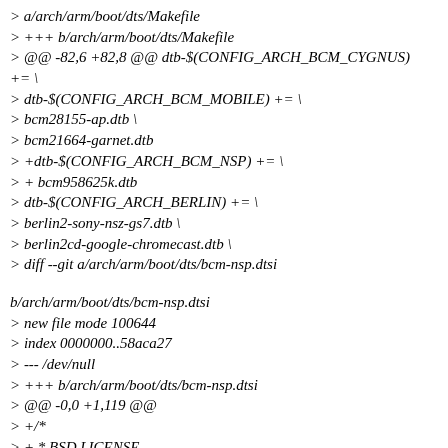> a/arch/arm/boot/dts/Makefile
> +++ b/arch/arm/boot/dts/Makefile
> @@ -82,6 +82,8 @@ dtb-$(CONFIG_ARCH_BCM_CYGNUS) += \
> dtb-$(CONFIG_ARCH_BCM_MOBILE) += \
> bcm28155-ap.dtb \
> bcm21664-garnet.dtb
> +dtb-$(CONFIG_ARCH_BCM_NSP) += \
> + bcm958625k.dtb
> dtb-$(CONFIG_ARCH_BERLIN) += \
> berlin2-sony-nsz-gs7.dtb \
> berlin2cd-google-chromecast.dtb \
> diff --git a/arch/arm/boot/dts/bcm-nsp.dtsi b/arch/arm/boot/dts/bcm-nsp.dtsi
> new file mode 100644
> index 0000000..58aca27
> --- /dev/null
> +++ b/arch/arm/boot/dts/bcm-nsp.dtsi
> @@ -0,0 +1,119 @@
> +/*
> + * BSD LICENSE
> + *
> + * Copyright(c) 2015 Broadcom Corporation. All rights reserved.
> + *
> + * Redistribution and use in source and binary forms, with or